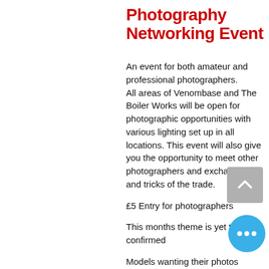Photography Networking Event
An event for both amateur and professional photographers. All areas of Venombase and The Boiler Works will be open for photographic opportunities with various lighting set up in all locations. This event will also give you the opportunity to meet other photographers and exchange tips and tricks of the trade.
£5 Entry for photographers
This months theme is yet to be confirmed
Models wanting their photos taken to update or start their portfolios get free entry.
Photos are shared on the closed